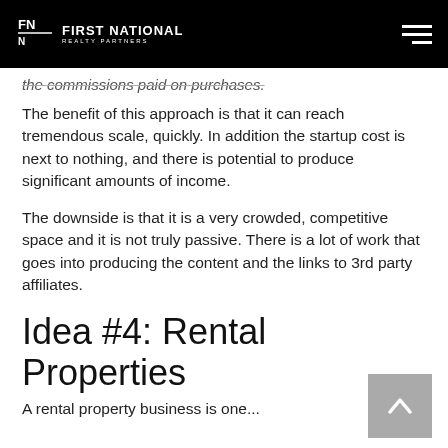FIRST NATIONAL REALTY PARTNERS
the commissions paid on purchases.
The benefit of this approach is that it can reach tremendous scale, quickly. In addition the startup cost is next to nothing, and there is potential to produce significant amounts of income.
The downside is that it is a very crowded, competitive space and it is not truly passive. There is a lot of work that goes into producing the content and the links to 3rd party affiliates.
Idea #4: Rental Properties
A rental property business is one...